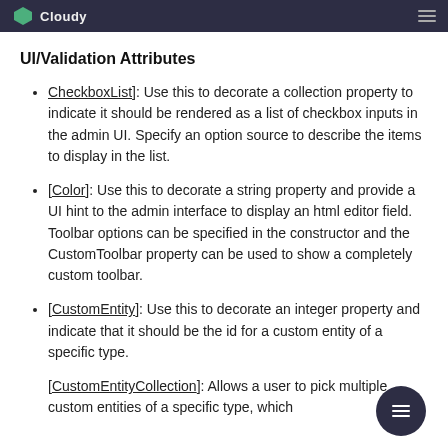Cloudy
UI/Validation Attributes
[CheckboxList]: Use this to decorate a collection property to indicate it should be rendered as a list of checkbox inputs in the admin UI. Specify an option source to describe the items to display in the list.
[Color]: Use this to decorate a string property and provide a UI hint to the admin interface to display an html editor field. Toolbar options can be specified in the constructor and the CustomToolbar property can be used to show a completely custom toolbar.
[CustomEntity]: Use this to decorate an integer property and indicate that it should be the id for a custom entity of a specific type.
[CustomEntityCollection]: Allows a user to pick multiple custom entities of a specific type, which